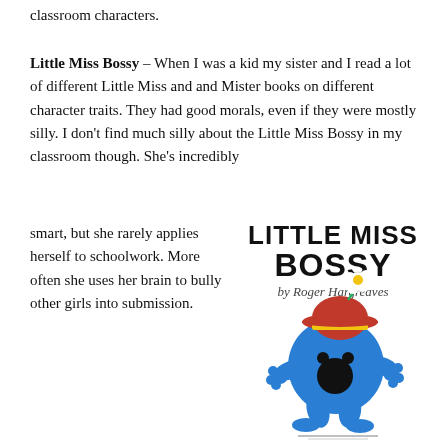classroom characters.
Little Miss Bossy – When I was a kid my sister and I read a lot of different Little Miss and and Mister books on different character traits. They had good morals, even if they were mostly silly. I don't find much silly about the Little Miss Bossy in my classroom though. She's incredibly smart, but she rarely applies herself to schoolwork. More often she uses her brain to bully other girls into submission.
[Figure (illustration): Cover of 'Little Miss Bossy by Roger Hargreaves' showing a round blue character with a red hat topped with a yellow band and a flower, walking with arms outstretched. Text reads LITTLE MISS BOSSY in large bold black letters and 'by Roger Hargreaves' in cursive below.]